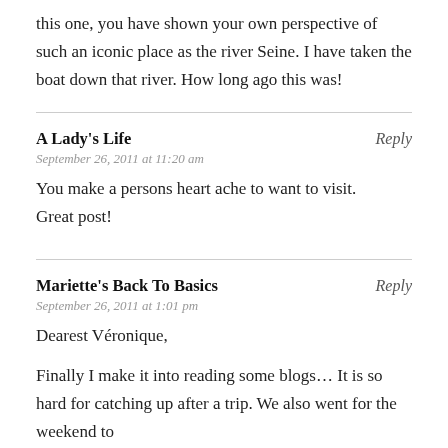this one, you have shown your own perspective of such an iconic place as the river Seine. I have taken the boat down that river. How long ago this was!
A Lady's Life
Reply
September 26, 2011 at 11:20 am
You make a persons heart ache to want to visit. Great post!
Mariette's Back To Basics
Reply
September 26, 2011 at 1:01 pm
Dearest Véronique,
Finally I make it into reading some blogs… It is so hard for catching up after a trip. We also went for the weekend to